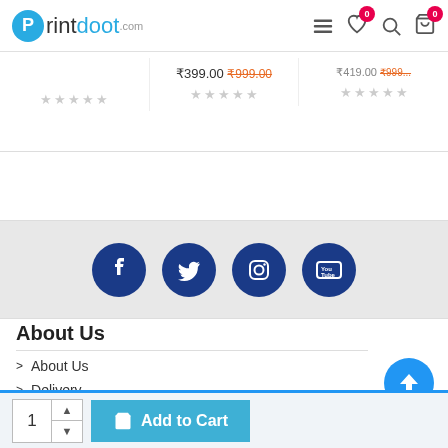Printdoot.com
₹399.00 ₹999.00 (strikethrough)
[Figure (infographic): Social media icons: Facebook, Twitter, Instagram, YouTube]
About Us
> About Us
> Delivery
1  Add to Cart (bottom bar)